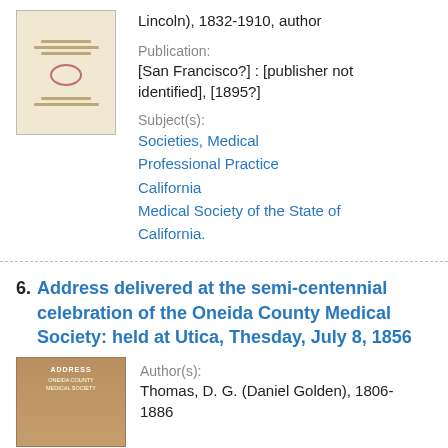[Figure (photo): Book cover thumbnail, cream/beige colored booklet with faint text lines and a red stamp]
Lincoln), 1832-1910, author
Publication:
[San Francisco?] : [publisher not identified], [1895?]
Subject(s):
Societies, Medical
Professional Practice
California
Medical Society of the State of California.
6. Address delivered at the semi-centennial celebration of the Oneida County Medical Society: held at Utica, Thesday, July 8, 1856
[Figure (photo): Brown book cover thumbnail with 'ADDRESS' text visible]
Author(s):
Thomas, D. G. (Daniel Golden), 1806-1886